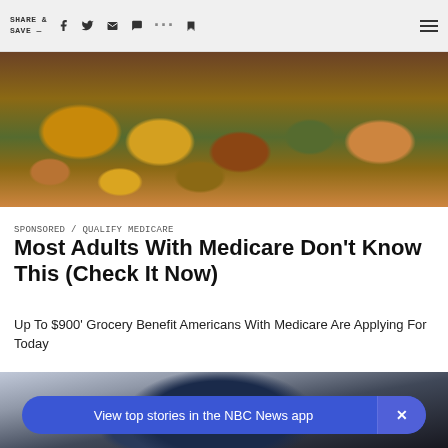SHARE & SAVE —
[Figure (photo): Grocery store produce section with various vegetables and root vegetables including potatoes, carrots, and green vegetables displayed in bins]
SPONSORED / QUALIFY MEDICARE
Most Adults With Medicare Don't Know This (Check It Now)
Up To $900' Grocery Benefit Americans With Medicare Are Applying For Today
[Figure (photo): Close-up of person's feet wearing navy blue sneakers with white soles, wearing jeans, sitting on a white surface]
View top stories in the NBC News app